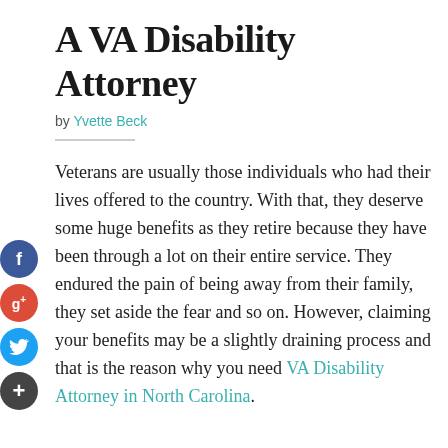A VA Disability Attorney
by Yvette Beck
Veterans are usually those individuals who had their lives offered to the country. With that, they deserve some huge benefits as they retire because they have been through a lot on their entire service. They endured the pain of being away from their family, they set aside the fear and so on. However, claiming your benefits may be a slightly draining process and that is the reason why you need VA Disability Attorney in North Carolina.